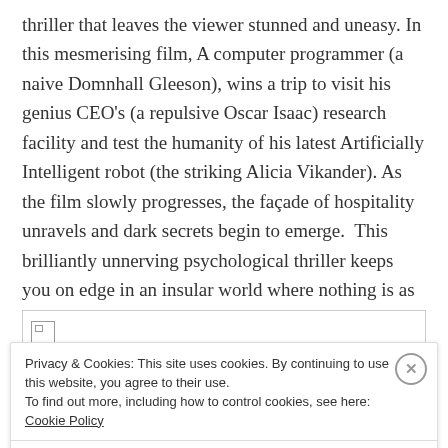thriller that leaves the viewer stunned and uneasy. In this mesmerising film, A computer programmer (a naive Domnhall Gleeson), wins a trip to visit his genius CEO's (a repulsive Oscar Isaac) research facility and test the humanity of his latest Artificially Intelligent robot (the striking Alicia Vikander). As the film slowly progresses, the façade of hospitality unravels and dark secrets begin to emerge.  This brilliantly unnerving psychological thriller keeps you on edge in an insular world where nothing is as it seems.
[Figure (other): Partial image with a file/image icon visible at the top left corner of an image placeholder box]
Privacy & Cookies: This site uses cookies. By continuing to use this website, you agree to their use.
To find out more, including how to control cookies, see here: Cookie Policy
Close and accept